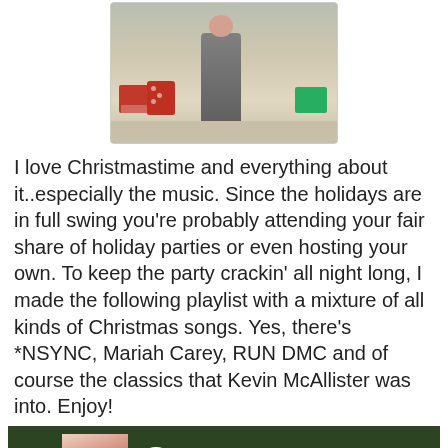[Figure (photo): Photo of a child in Christmas pajamas standing amidst wrapped gifts and holiday items on the floor]
I love Christmastime and everything about it..especially the music. Since the holidays are in full swing you're probably attending your fair share of holiday parties or even hosting your own. To keep the party crackin' all night long, I made the following playlist with a mixture of all kinds of Christmas songs. Yes, there's *NSYNC, Mariah Carey, RUN DMC and of course the classics that Kevin McAllister was into. Enjoy!
[Figure (screenshot): Spotify playlist widget showing 'Christine Kaurdashian'... playlist by Christine Samra, with tracks: 1. All I Want for Christmas Is You - Mariah Carey (4:01), 2. Santa Baby (2:50)]